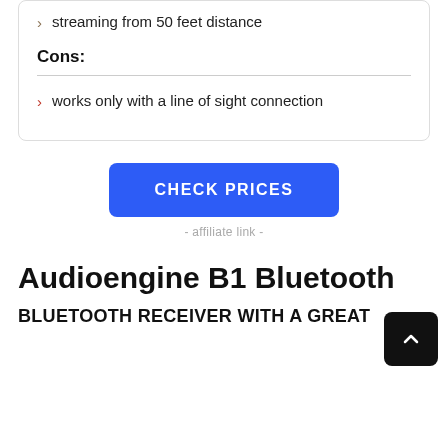streaming from 50 feet distance
Cons:
works only with a line of sight connection
CHECK PRICES
- affiliate link -
Audioengine B1 Bluetooth
BLUETOOTH RECEIVER WITH A GREAT